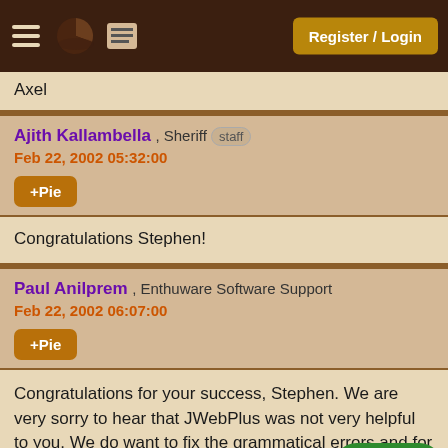Register / Login
Axel
Ajith Kallambella , Sheriff staff
Feb 22, 2002 05:32:00
+Pie
Congratulations Stephen!
Paul Anilprem , Enthuware Software Support
Feb 22, 2002 06:07:00
+Pie
Congratulations for your success, Stephen. We are very sorry to hear that JWebPlus was not very helpful to you. We do want to fix the grammatical errors and for this purposes, we have decided to invite som JavaRanch. Since there are so many exp enthusiatic people here, I believe this would be the best place to ask help for 🙂